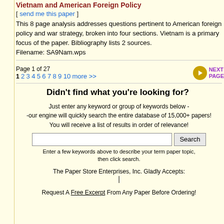Vietnam and American Foreign Policy
[ send me this paper ]
This 8 page analysis addresses questions pertinent to American foreign policy and war strategy, broken into four sections. Vietnam is a primary focus of the paper. Bibliography lists 2 sources.
Filename: SA9Nam.wps
Page 1 of 27
1 2 3 4 5 6 7 8 9 10 more >>
Didn't find what you're looking for?
Just enter any keyword or group of keywords below -
-our engine will quickly search the entire database of 15,000+ papers!
You will receive a list of results in order of relevance!
[Search input] Search
Enter a few keywords above to describe your term paper topic, then click search.
The Paper Store Enterprises, Inc. Gladly Accepts:
Request A Free Excerpt From Any Paper Before Ordering!